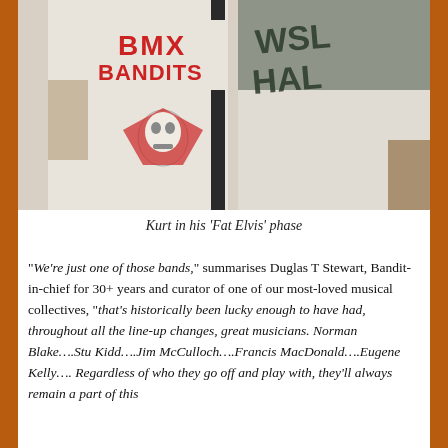[Figure (photo): Two people wearing white t-shirts. The left person wears a BMX Bandits t-shirt with a red logo featuring a skull character. The right person wears a white t-shirt with dark text partially visible.]
Kurt in his ‘Fat Elvis’ phase
“We’re just one of those bands,” summarises Duglas T Stewart, Bandit-in-chief for 30+ years and curator of one of our most-loved musical collectives, “that’s historically been lucky enough to have had, throughout all the line-up changes, great musicians. Norman Blake….Stu Kidd….Jim McCulloch….Francis MacDonald….Eugene Kelly…. Regardless of who they go off and play with, they’ll always remain a part of this